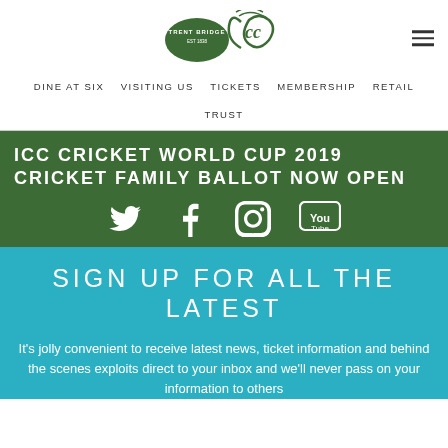[Figure (logo): Trent Bridge Cricket Club logo with crest]
DINE AT SIX  VISITING US  TICKETS  MEMBERSHIP  RETAIL  TRUST
ICC CRICKET WORLD CUP 2019 CRICKET FAMILY BALLOT NOW OPEN
[Figure (infographic): Social media icons: Twitter, Facebook, Instagram, YouTube on green background]
SIGN UP FOR ALL THE LATEST
It's jolly convenient to receive latest news, ticket information and behind the scenes exploits direct to your inbox and we'll never pass on your information to others